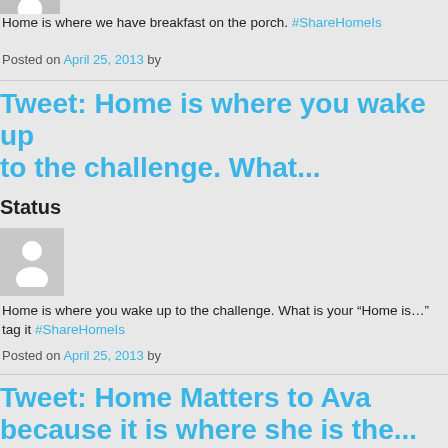Home is where we have breakfast on the porch. #ShareHomeIs
Posted on April 25, 2013 by
Tweet: Home is where you wake up to the challenge. What...
Status
Home is where you wake up to the challenge. What is your "Home is..." tag it #ShareHomeIs
Posted on April 25, 2013 by
Tweet: Home Matters to Ava because it is where she is the...